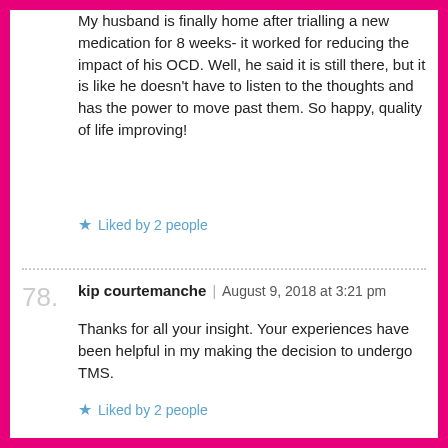My husband is finally home after trialling a new medication for 8 weeks- it worked for reducing the impact of his OCD. Well, he said it is still there, but it is like he doesn't have to listen to the thoughts and has the power to move past them. So happy, quality of life improving!
Liked by 2 people
78.
kip courtemanche | August 9, 2018 at 3:21 pm
Thanks for all your insight. Your experiences have been helpful in my making the decision to undergo TMS.
Liked by 2 people